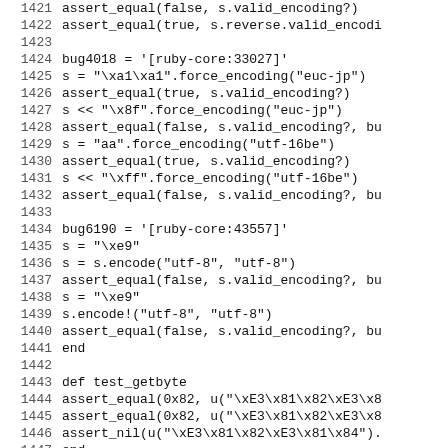[Figure (screenshot): Source code listing in monospace font showing Ruby test code with line numbers 1421-1450. The code includes assertions about string encoding validity, bug references for ruby-core issues 33027 and 43557, and test method definitions for test_getbyte and test_setbyte.]